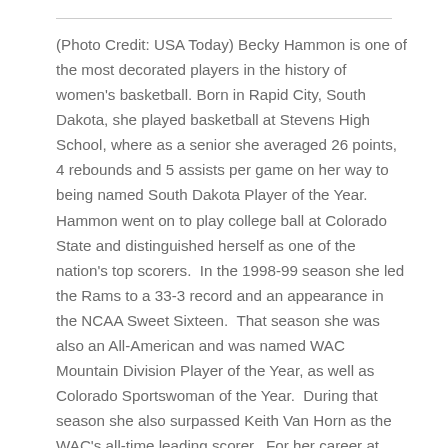(Photo Credit: USA Today) Becky Hammon is one of the most decorated players in the history of women's basketball. Born in Rapid City, South Dakota, she played basketball at Stevens High School, where as a senior she averaged 26 points, 4 rebounds and 5 assists per game on her way to being named South Dakota Player of the Year. Hammon went on to play college ball at Colorado State and distinguished herself as one of the nation's top scorers.  In the 1998-99 season she led the Rams to a 33-3 record and an appearance in the NCAA Sweet Sixteen.  That season she was also an All-American and was named WAC Mountain Division Player of the Year, as well as Colorado Sportswoman of the Year.  During that season she also surpassed Keith Van Horn as the WAC's all-time leading scorer.  For her career at Colorado State she set University records in points, points per game, field goals, free throws and three pointers made, and assists. Despite her collegiate accomplishments, Hammon went undrafted in the WNBA draft, and subsequently signed with the New York Liberty as a free